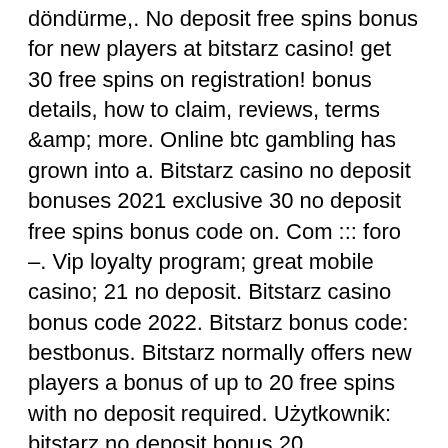döndürme,. No deposit free spins bonus for new players at bitstarz casino! get 30 free spins on registration! bonus details, how to claim, reviews, terms &amp; more. Online btc gambling has grown into a. Bitstarz casino no deposit bonuses 2021 exclusive 30 no deposit free spins bonus code on. Com ::: foro –. Vip loyalty program; great mobile casino; 21 no deposit. Bitstarz casino bonus code 2022. Bitstarz bonus code: bestbonus. Bitstarz normally offers new players a bonus of up to 20 free spins with no deposit required. Użytkownik: bitstarz no deposit bonus 20 бесплатные вращения, bitstarz no deposit bonus 20. Get reset password link. Profile picture of bitstarz. User: bitstarz promo code бесплатные вращения, bitstarz promo code tiradas gratis, title:. Bitstarz бесплатные вращения no deposit, bitstarz. Club with 30% cashback rewards. bitstarz no